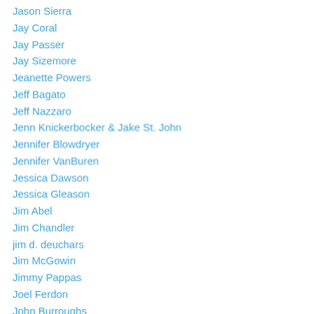Jason Sierra
Jay Coral
Jay Passer
Jay Sizemore
Jeanette Powers
Jeff Bagato
Jeff Nazzaro
Jenn Knickerbocker & Jake St. John
Jennifer Blowdryer
Jennifer VanBuren
Jessica Dawson
Jessica Gleason
Jim Abel
Jim Chandler
jim d. deuchars
Jim McGowin
Jimmy Pappas
Joel Ferdon
John Burroughs
John Clayton